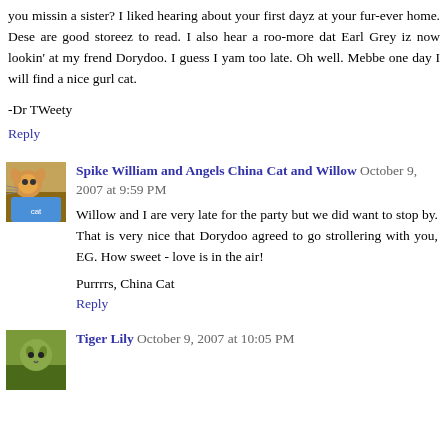you missin a sister? I liked hearing about your first dayz at your fur-ever home. Dese are good storeez to read. I also hear a roo-more dat Earl Grey iz now lookin' at my frend Dorydoo. I guess I yam too late. Oh well. Mebbe one day I will find a nice gurl cat.
-Dr TWeety
Reply
Spike William and Angels China Cat and Willow October 9, 2007 at 9:59 PM
Willow and I are very late for the party but we did want to stop by. That is very nice that Dorydoo agreed to go strollering with you, EG. How sweet - love is in the air!
Purrrrs, China Cat
Reply
Tiger Lily October 9, 2007 at 10:05 PM